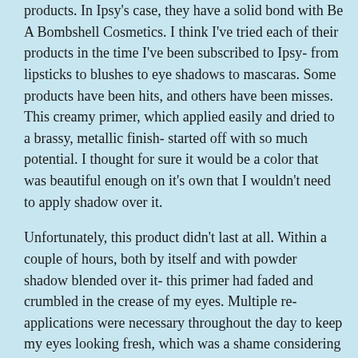products. In Ipsy's case, they have a solid bond with Be A Bombshell Cosmetics. I think I've tried each of their products in the time I've been subscribed to Ipsy- from lipsticks to blushes to eye shadows to mascaras. Some products have been hits, and others have been misses. This creamy primer, which applied easily and dried to a brassy, metallic finish- started off with so much potential. I thought for sure it would be a color that was beautiful enough on it's own that I wouldn't need to apply shadow over it.
Unfortunately, this product didn't last at all. Within a couple of hours, both by itself and with powder shadow blended over it- this primer had faded and crumbled in the crease of my eyes. Multiple re-applications were necessary throughout the day to keep my eyes looking fresh, which was a shame considering how beautiful the color was by itself.
Would I Purchase?: No. Had the color of this primer lasted longer, I'd have probably been sold on it- because it really is a lovely metallic on the lids-